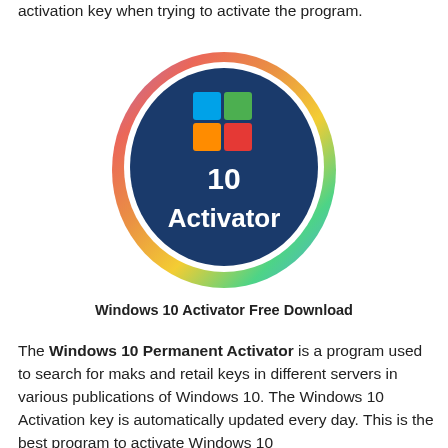activation key when trying to activate the program.
[Figure (logo): Windows 10 Activator logo: a circular badge with a colorful outer glow (purple, pink, red, orange, yellow, green), a dark navy blue inner circle, the Windows flag logo at the top, and bold white text '10 Activator' in the center.]
Windows 10 Activator Free Download
The Windows 10 Permanent Activator is a program used to search for maks and retail keys in different servers in various publications of Windows 10. The Windows 10 Activation key is automatically updated every day. This is the best program to activate Windows 10